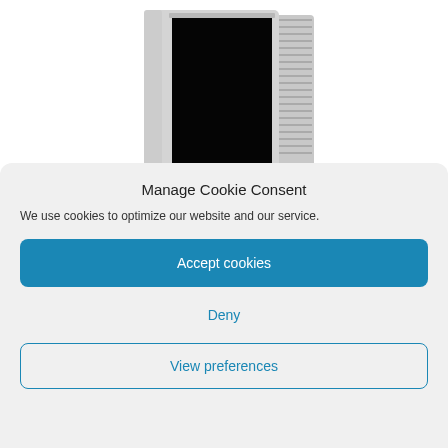[Figure (photo): A silver/grey CRT television or monitor with a black screen, photographed against a white background, shown from a slight angle, partially cropped at the top of the page.]
Manage Cookie Consent
We use cookies to optimize our website and our service.
Accept cookies
Deny
View preferences